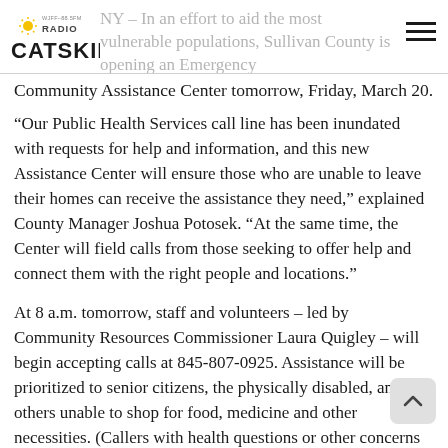Radio Catskill – NY – In an effort to aid the most vulnerable populations, Sullivan County is opening an Emergency Community Assistance Center tomorrow, Friday, March 20.
“Our Public Health Services call line has been inundated with requests for help and information, and this new Assistance Center will ensure those who are unable to leave their homes can receive the assistance they need,” explained County Manager Joshua Potosek. “At the same time, the Center will field calls from those seeking to offer help and connect them with the right people and locations.”
At 8 a.m. tomorrow, staff and volunteers – led by Community Resources Commissioner Laura Quigley – will begin accepting calls at 845-807-0925. Assistance will be prioritized to senior citizens, the physically disabled, and others unable to shop for food, medicine and other necessities. (Callers with health questions or other concerns should continue to dial Public Health Services’ hotline at 845-292-5910.)
The Assistance Center operators will also welcome those who